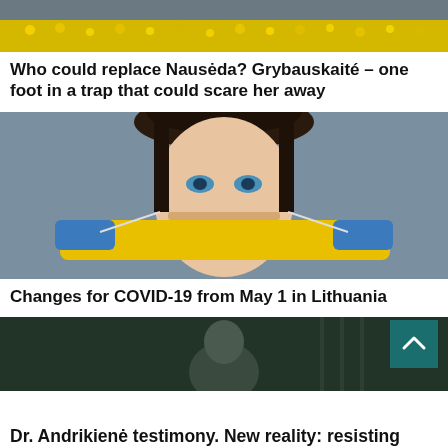[Figure (photo): Top portion of a photo showing yellow flowers with dark background, partially cropped]
Who could replace Nausėda? Grybauskaité – one foot in a trap that could scare her away
[Figure (photo): A woman with blue eyes pulling down a yellow face mask with blue-gloved hands, close-up portrait]
Changes for COVID-19 from May 1 in Lithuania
[Figure (photo): Dark photo showing a person or scene with dark green background, partially visible]
Dr. Andrikienė testimony. New reality: resisting